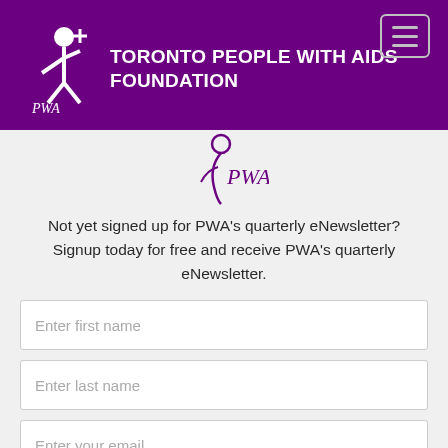[Figure (logo): Toronto People With AIDS Foundation logo with white figure and PWA text on purple background, plus organization name]
[Figure (logo): PWA logo centered below header on grey background - stylized figure with PWA italic text in purple]
Not yet signed up for PWA's quarterly eNewsletter? Signup today for free and receive PWA's quarterly eNewsletter.
Enter first name
Enter last name
Enter your email